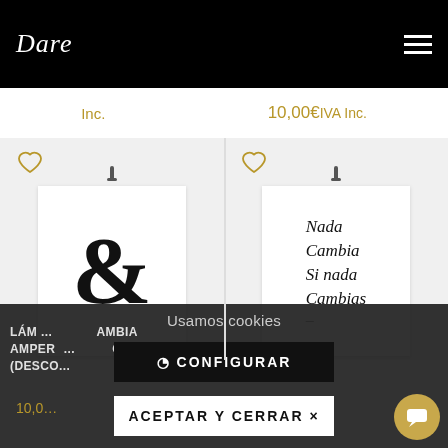[Figure (screenshot): Website header with black background, 'Dase' script logo on the left and hamburger menu icon on the right]
Inc.
10,00€IVA Inc.
[Figure (photo): Product card showing a white poster with a large ampersand (&) symbol in bold serif font, with a clip at top and golden heart icon]
[Figure (photo): Product card showing a white poster with handwritten text 'Nada Cambia Si nada Cambias', with a clip at top and golden heart icon]
Usamos cookies
⊙ CONFIGURAR
ACEPTAR Y CERRAR ×
LÁMI... AMBIA AMPER... GABLE) (DESCO...
10,0...